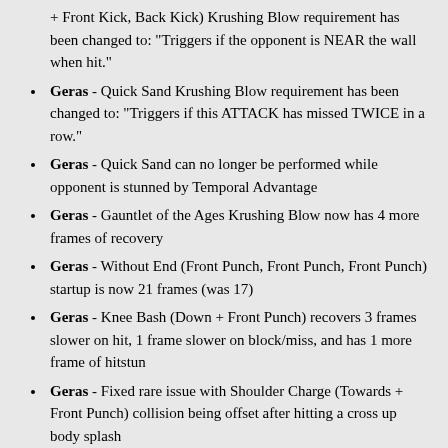+ Front Kick, Back Kick) Krushing Blow requirement has been changed to: "Triggers if the opponent is NEAR the wall when hit."
Geras - Quick Sand Krushing Blow requirement has been changed to: "Triggers if this ATTACK has missed TWICE in a row."
Geras - Quick Sand can no longer be performed while opponent is stunned by Temporal Advantage
Geras - Gauntlet of the Ages Krushing Blow now has 4 more frames of recovery
Geras - Without End (Front Punch, Front Punch, Front Punch) startup is now 21 frames (was 17)
Geras - Knee Bash (Down + Front Punch) recovers 3 frames slower on hit, 1 frame slower on block/miss, and has 1 more frame of hitstun
Geras - Fixed rare issue with Shoulder Charge (Towards + Front Punch) collision being offset after hitting a cross up body splash
Geras - Fixed a bug that when winning a round with the